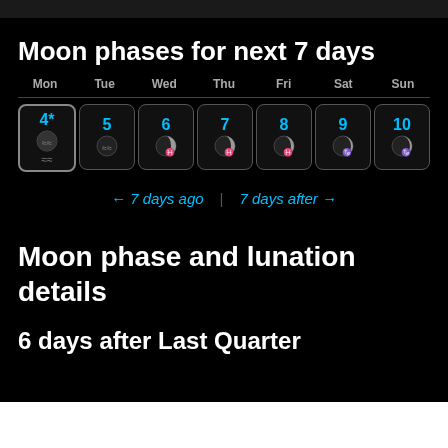Moon phases for next 7 days
[Figure (infographic): 7-day moon phase calendar showing Mon 4* through Sun 10, with moon phase icons for each day. Navigation links: 7 days ago | 7 days after]
Moon phase and lunation details
6 days after Last Quarter